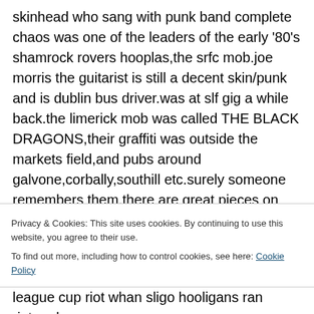skinhead who sang with punk band complete chaos was one of the leaders of the early '80's shamrock rovers hooplas,the srfc mob.joe morris the guitarist is still a decent skin/punk and is dublin bus driver.was at slf gig a while back.the limerick mob was called THE BLACK DRAGONS,their graffiti was outside the markets field,and pubs around galvone,corbally,southill etc.surely someone remembers them.there are great pieces on limericks skinheads and hooligan aggro in the limerick leader which is
Privacy & Cookies: This site uses cookies. By continuing to use this website, you agree to their use.
To find out more, including how to control cookies, see here: Cookie Policy
league cup riot whan sligo hooligans ran riot,and